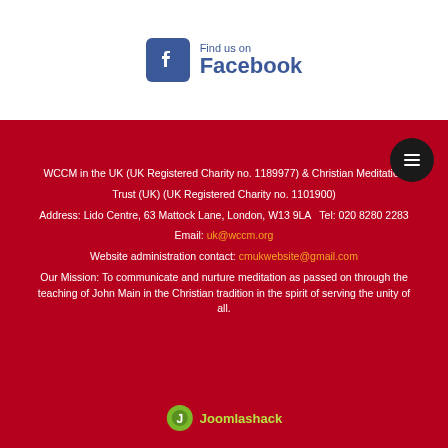[Figure (logo): Find us on Facebook badge with Facebook icon and text]
WCCM in the UK (UK Registered Charity no. 1189977) & Christian Meditation Trust (UK) (UK Registered Charity no. 1101900)
Address: Lido Centre, 63 Mattock Lane, London, W13 9LA   Tel: 020 8280 2283
Email: uk@wccm.org
Website administration contact: cmukwebsite@gmail.com
Our Mission: To communicate and nurture meditation as passed on through the teaching of John Main in the Christian tradition in the spirit of serving the unity of all.
[Figure (logo): Joomlashack logo with green icon and text]